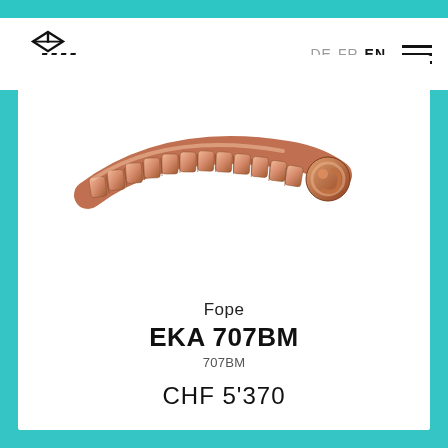Villiger — DE FR EN
[Figure (photo): Rose gold Fope EKA 707BM bracelet/chain jewelry piece shown at an angle against white background]
Fope
EKA 707BM
707BM
CHF 5'370